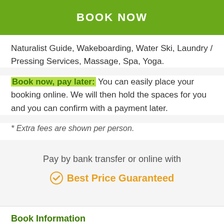BOOK NOW
Naturalist Guide, Wakeboarding, Water Ski, Laundry / Pressing Services, Massage, Spa, Yoga.
Book now, pay later: You can easily place your booking online. We will then hold the spaces for you and you can confirm with a payment later.
* Extra fees are shown per person.
Pay by bank transfer or online with
✓ Best Price Guaranteed
Book Information